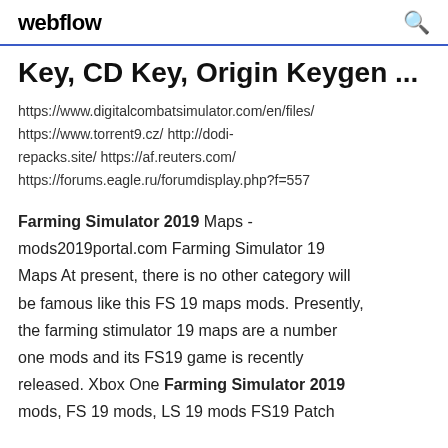webflow
Key, CD Key, Origin Keygen ...
https://www.digitalcombatsimulator.com/en/files/ https://www.torrent9.cz/ http://dodi-repacks.site/ https://af.reuters.com/ https://forums.eagle.ru/forumdisplay.php?f=557
Farming Simulator 2019 Maps - mods2019portal.com Farming Simulator 19 Maps At present, there is no other category will be famous like this FS 19 maps mods. Presently, the farming stimulator 19 maps are a number one mods and its FS19 game is recently released. Xbox One Farming Simulator 2019 mods, FS 19 mods, LS 19 mods FS19 Patch